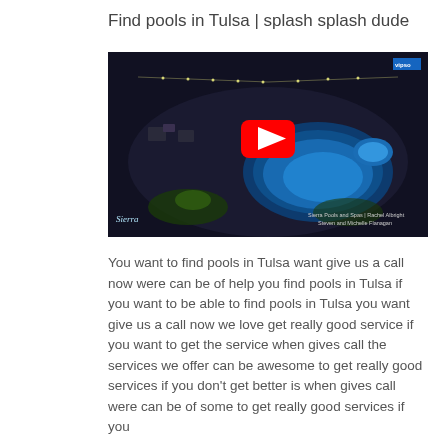Find pools in Tulsa | splash splash dude
[Figure (screenshot): YouTube video thumbnail showing a dark aerial 3D rendering of a swimming pool and spa at night with string lights and outdoor furniture. A large red YouTube play button is centered on the image. Sierra Pools and Spas branding appears in the bottom left and right corners.]
You want to find pools in Tulsa want give us a call now were can be of help you find pools in Tulsa if you want to be able to find pools in Tulsa you want give us a call now we love get really good service if you want to get the service when gives call the services we offer can be awesome to get really good services if you don't get better is when gives call were can be of some to get really good services if you